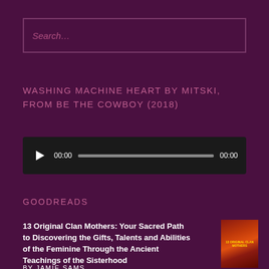Search…
WASHING MACHINE HEART BY MITSKI, FROM BE THE COWBOY (2018)
[Figure (other): Audio player with play button, 00:00 start time, progress bar, and 00:00 end time on dark background]
GOODREADS
13 Original Clan Mothers: Your Sacred Path to Discovering the Gifts, Talents and Abilities of the Feminine Through the Ancient Teachings of the Sisterhood
BY JAMIE SAMS
[Figure (photo): Book cover for 13 Original Clan Mothers with reddish-orange tones]